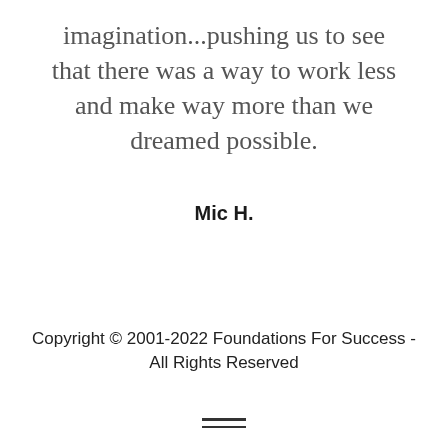imagination...pushing us to see that there was a way to work less and make way more than we dreamed possible.
Mic H.
Copyright © 2001-2022 Foundations For Success - All Rights Reserved